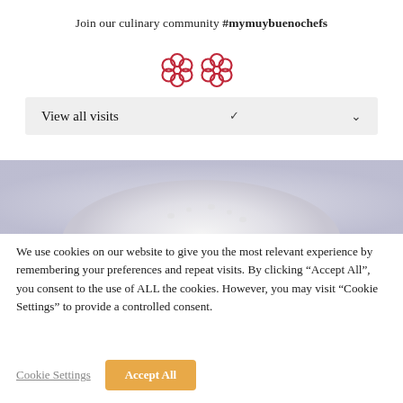Join our culinary community #mymuybuenochefs
[Figure (illustration): Two red flower/snowflake decorative icons side by side]
[Figure (other): Dropdown UI element labelled 'View all visits' with a chevron arrow on the right]
[Figure (photo): Close-up photo of a white dough ball on a blue-grey fabric surface]
We use cookies on our website to give you the most relevant experience by remembering your preferences and repeat visits. By clicking “Accept All”, you consent to the use of ALL the cookies. However, you may visit “Cookie Settings” to provide a controlled consent.
Cookie Settings  Accept All